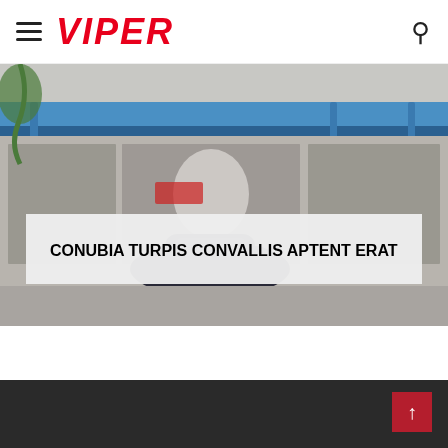VIPER
[Figure (photo): Outdoor photo showing a building facade with blue metal awning/canopy, glass windows, and what appears to be a vintage dark-colored vehicle in front.]
CONUBIA TURPIS CONVALLIS APTENT ERAT